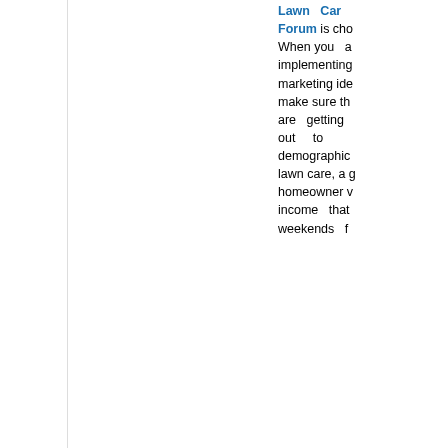Lawn Care Forum is cho... When you are implementing marketing ideas make sure they are getting out to demographic... lawn care, a g... homeowner w... income that... weekends f...
What better place to find such potential customers than at a golf course! That... a this business owner did.
He wrote "I came up with a marketing idea last weekend while playing golf. I wa... bench at Hole 9 and was thinking how crappy the bench was. I thought to my... bench for the golf couse holes, the club owner would probably love it. He'd... benches Free and I could get my marketing message out!
So after playing I talked to the club owner and told him that I would make two n... him on hole 1 and 10 as long as I could put my advertising on the back. H... asked if I would do all the holes. I told him that I would get people for the other...
I looked around and found the parts to put the benches together. It cost me... bench and the best part was the club owner actually gave me $200 back b... loves his new benches. That only cost me $120 for both benches and they s...